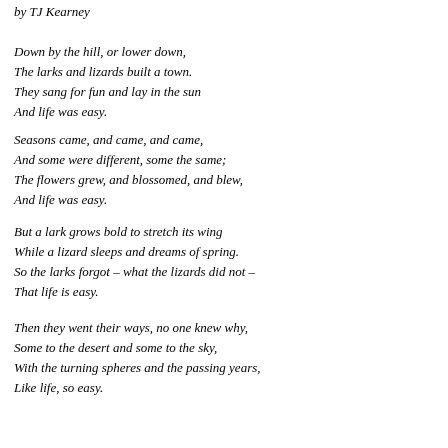by TJ Kearney
Down by the hill, or lower down,
The larks and lizards built a town.
They sang for fun and lay in the sun
And life was easy.
Seasons came, and came, and came,
And some were different, some the same;
The flowers grew, and blossomed, and blew,
And life was easy.
But a lark grows bold to stretch its wing
While a lizard sleeps and dreams of spring.
So the larks forgot – what the lizards did not –
That life is easy.
Then they went their ways, no one knew why,
Some to the desert and some to the sky,
With the turning spheres and the passing years,
Like life, so easy.